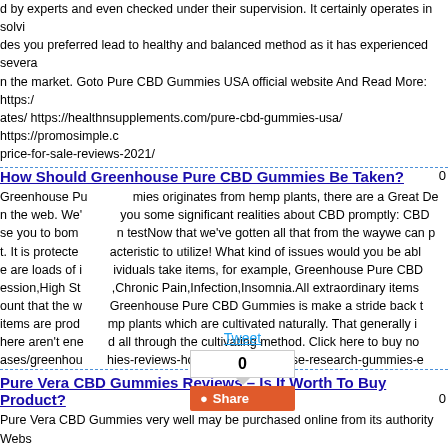d by experts and even checked under their supervision. It certainly operates in solving des you preferred lead to healthy and balanced method as it has experienced severa n the market. Goto Pure CBD Gummies USA official website And Read More: https:/ ates/ https://healthnsupplements.com/pure-cbd-gummies-usa/ https://promosimple.co price-for-sale-reviews-2021/
How Should Greenhouse Pure CBD Gummies Be Taken?
Greenhouse Pu mies originates from hemp plants, there are a Great De n the web. We' you some significant realities about CBD promptly: CBD se you to bom n testNow that we've gotten all that from the waywe can p t. It is protecte acteristic to utilize! What kind of issues would you be abl e are loads of i ividuals take items, for example, Greenhouse Pure CB ession,High St Chronic Pain,Infection,Insomnia.All extraordinary items ount that the w Greenhouse Pure CBD Gummies is make a stride back t items are produ mp plants which are cultivated naturally. That generally i here aren't ene d all through the cultivating method. Click here to buy no ases/greenhou hies-reviews-how-does-greenhouse-research-gummies-e
Pure Vera CBD Gummies Reviews – Is It Worth To Buy Product?
Pure Vera CBD Gummies very well may be purchased online from its authority Webs en made to ensure that the clients can get legitimate wellbeing through a simpler te ilarly simpler to utilize. Individuals can devour these chewy candies whenever of the he utilization of Pure Vera CBD Gummies. Individuals like to utilize Pure Vera CBD G normally supportive fixings separated from just CBD remove. They help to guarantee a CBD Gummies can ensure that the body will have appropriate metabolic wellbeing Gummies is a superior item for individuals since it has been tried to have no results b an what Pure Vera CBD Gummies expenses for the clients. Click here to get it: https ummies-reviews-how-much-safe-for-anxiety-and-stress/ PureVera CBD Gummies Re